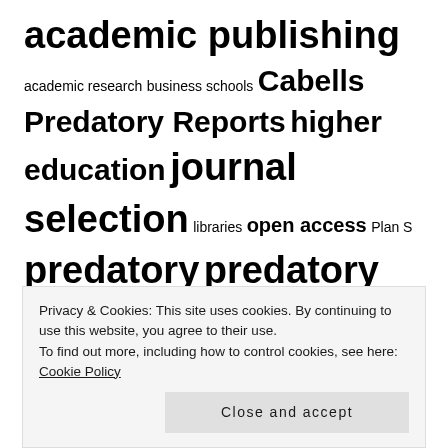academic publishing academic research business schools Cabells Predatory Reports higher education journal selection libraries open access Plan S predatory predatory journals predatory publishing research research integrity scholarly communication SDGs sustainability
FOLLOW US
[Figure (illustration): Social media icons: Twitter bird, Facebook F circle, LinkedIn in square]
Privacy & Cookies: This site uses cookies. By continuing to use this website, you agree to their use. To find out more, including how to control cookies, see here: Cookie Policy
Close and accept